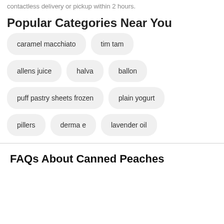contactless delivery or pickup within 2 hours.
Popular Categories Near You
caramel macchiato
tim tam
allens juice
halva
ballon
puff pastry sheets frozen
plain yogurt
pillers
derma e
lavender oil
FAQs About Canned Peaches